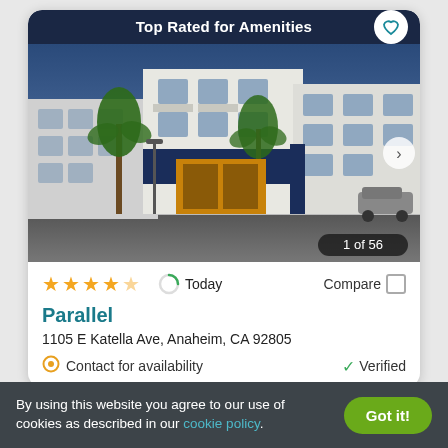Top Rated for Amenities
[Figure (photo): Exterior photo of Parallel apartment complex at 1105 E Katella Ave, Anaheim, CA. Modern multi-story white and navy blue building with palm trees and parking area, photographed at dusk/sunset. Image counter shows 1 of 56.]
★★★★☆   Today   Compare
Parallel
1105 E Katella Ave, Anaheim, CA 92805
Contact for availability   Verified
By using this website you agree to our use of cookies as described in our cookie policy.